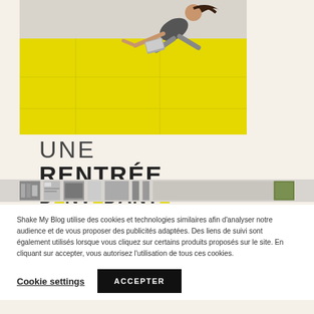[Figure (photo): A person appearing to be doing a breakdance move or falling on a large yellow surface, with grey background above. Blog/editorial promotional image for 'Une Rentrée'.]
UNE
RENTRÉE
D NYV DANT
[Figure (photo): A horizontal strip of small thumbnail images, partially cut off, showing various product/editorial shots.]
Shake My Blog utilise des cookies et technologies similaires afin d'analyser notre audience et de vous proposer des publicités adaptées. Des liens de suivi sont également utilisés lorsque vous cliquez sur certains produits proposés sur le site. En cliquant sur accepter, vous autorisez l'utilisation de tous ces cookies.
Cookie settings
ACCEPTER